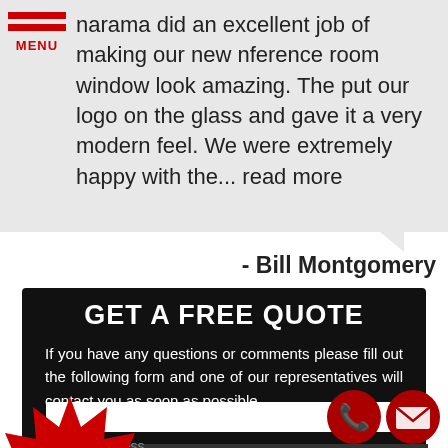narama did an excellent job of making our new nference room window look amazing. The put our logo on the glass and gave it a very modern feel. We were extremely happy with the... read more
- Bill Montgomery
GET A FREE QUOTE
If you have any questions or comments please fill out the following form and one of our representatives will contact you as soon as possible.
[Figure (infographic): Red starburst badge with text 'Financing Available']
[Figure (infographic): Red phone icon circle and red email envelope icon circle]